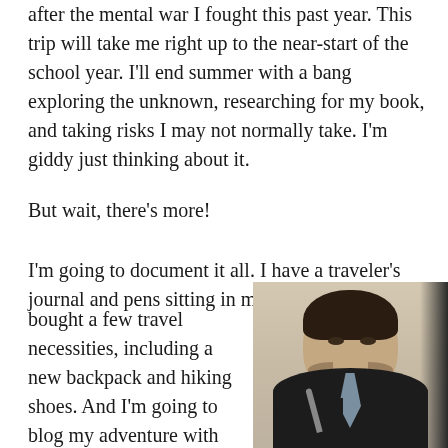after the mental war I fought this past year. This trip will take me right up to the near-start of the school year. I'll end summer with a bang exploring the unknown, researching for my book, and taking risks I may not normally take. I'm giddy just thinking about it.
But wait, there's more!
I'm going to document it all. I have a traveler's journal and pens sitting in my backpack. I've bought a few travel necessities, including a new backpack and hiking shoes. And I'm going to blog my adventure with
[Figure (photo): A man in a dark blazer with a blue-grey tie, holding a pen, photographed from the chest up against a light beige/cream wall background, with dark hair and stubble.]